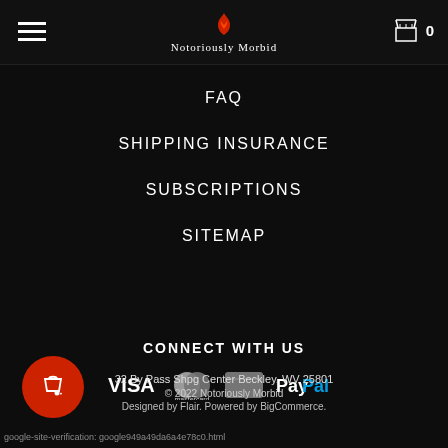[Figure (logo): Notoriously Morbid logo with flame icon and stylized text]
FAQ
SHIPPING INSURANCE
SUBSCRIPTIONS
SITEMAP
CONNECT WITH US
[Figure (illustration): Payment method icons: VISA, Mastercard, American Express, PayPal]
32 By Pass Shpg Center Beckley, WV 25801
© 2022 Notoriously Morbid
Designed by Flair. Powered by BigCommerce.
google-site-verification: google949a49da6a4e78c0.html